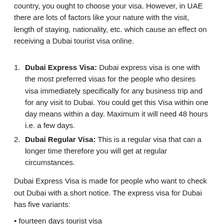country, you ought to choose your visa. However, in UAE there are lots of factors like your nature with the visit, length of staying, nationality, etc. which cause an effect on receiving a Dubai tourist visa online.
Dubai Express Visa: Dubai express visa is one with the most preferred visas for the people who desires visa immediately specifically for any business trip and for any visit to Dubai. You could get this Visa within one day means within a day. Maximum it will need 48 hours i.e. a few days.
Dubai Regular Visa: This is a regular visa that can a longer time therefore you will get at regular circumstances.
Dubai Express Visa is made for people who want to check out Dubai with a short notice. The express visa for Dubai has five variants:
fourteen days tourist visa